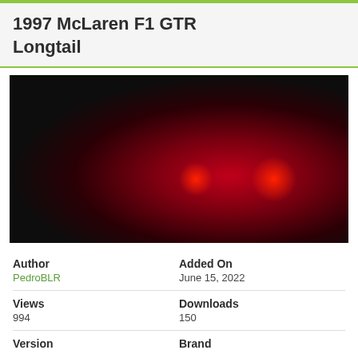1997 McLaren F1 GTR Longtail
[Figure (photo): Rear view of a dark red 1997 McLaren F1 GTR Longtail race car on a city street at night, with red brake lights glowing and motion blur in the background. Appears to be a video game or CGI rendering.]
| Author | Added On |
| PedroBLR | June 15, 2022 |
| Views | Downloads |
| 994 | 150 |
| Version | Brand |